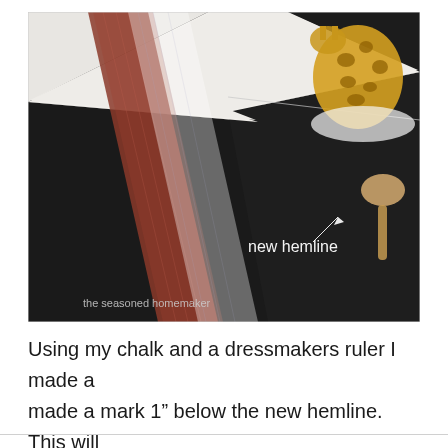[Figure (photo): Photo of black fabric/pants laid flat on a white surface with a brown dressmakers ruler/measuring tool diagonally across the fabric. A white transparent ruler is also visible. A chalk line marks the 'new hemline' indicated by an arrow and label. A decorative giraffe figure and a wooden spoon are visible in the upper right. Watermark text reads 'the seasoned homemaker' in lower left.]
Using my chalk and a dressmakers ruler I made a made a mark 1” below the new hemline. This will become the cutting line.